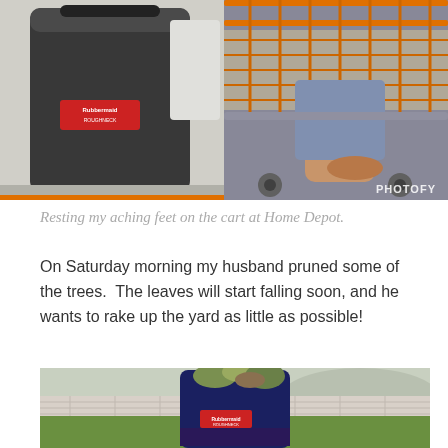[Figure (photo): Two side-by-side photos: left shows a dark gray trash bin with a red label sticker at a store (Home Depot); right shows a person's foot resting on the lower rack of an orange shopping cart at Home Depot. A 'PHOTOFY' watermark appears in the bottom-right of the right photo.]
Resting my aching feet on the cart at Home Depot.
On Saturday morning my husband pruned some of the trees.  The leaves will start falling soon, and he wants to rake up the yard as little as possible!
[Figure (photo): A large dark navy blue trash bin/bucket filled with pruned tree branches and leaves, sitting on a green lawn with a white brick wall and hilly background visible.]